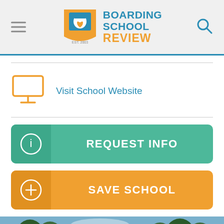[Figure (logo): Boarding School Review logo with owl/graduation cap icon, EST. 2003]
Visit School Website
REQUEST INFO
SAVE SCHOOL
[Figure (photo): Outdoor photo of school campus with trees and domed building under blue sky]